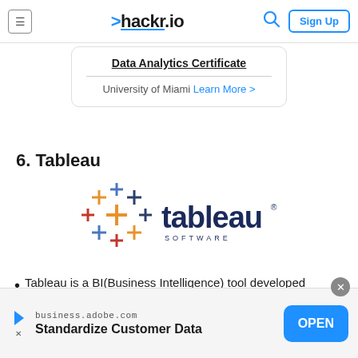≡  >hackr.io  🔍  Sign Up
Data Analytics Certificate
University of Miami  Learn More >
6. Tableau
[Figure (logo): Tableau Software logo with colorful cross/plus symbols in orange, blue, red, and dark colors, followed by the word 'tableau' in dark blue with 'SOFTWARE' below in smaller letters]
Tableau is a BI(Business Intelligence) tool developed
business.adobe.com  Standardize Customer Data  OPEN